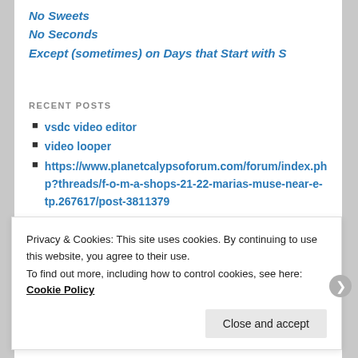No Sweets
No Seconds
Except (sometimes) on Days that Start with S
RECENT POSTS
vsdc video editor
video looper
https://www.planetcalypsoforum.com/forum/index.php?threads/f-o-m-a-shops-21-22-marias-muse-near-e-tp.267617/post-3811379
useful formatting tools
shop in game
Tree Texture Bark
Privacy & Cookies: This site uses cookies. By continuing to use this website, you agree to their use.
To find out more, including how to control cookies, see here: Cookie Policy